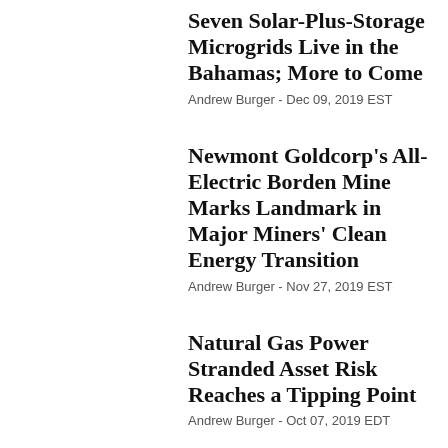Seven Solar-Plus-Storage Microgrids Live in the Bahamas; More to Come
Andrew Burger - Dec 09, 2019 EST
Newmont Goldcorp's All-Electric Borden Mine Marks Landmark in Major Miners' Clean Energy Transition
Andrew Burger - Nov 27, 2019 EST
Natural Gas Power Stranded Asset Risk Reaches a Tipping Point
Andrew Burger - Oct 07, 2019 EDT